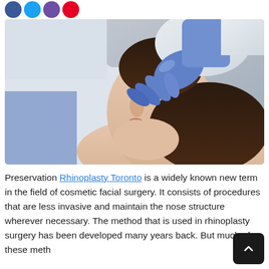[Figure (photo): A doctor wearing blue surgical gloves examining or touching the nose of a young woman lying down, looking up. The doctor is in a white coat. Medical/cosmetic surgery consultation scene.]
Preservation Rhinoplasty Toronto is a widely known new term in the field of cosmetic facial surgery. It consists of procedures that are less invasive and maintain the nose structure wherever necessary. The method that is used in rhinoplasty surgery has been developed many years back. But much of these meth...